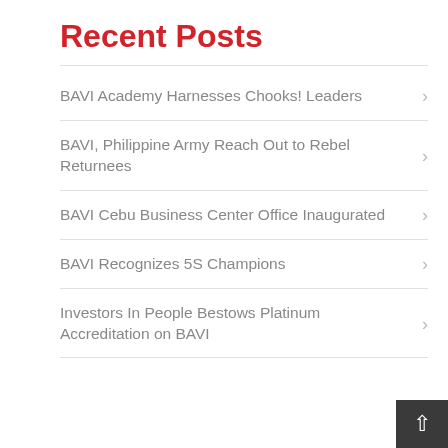Recent Posts
BAVI Academy Harnesses Chooks! Leaders
BAVI, Philippine Army Reach Out to Rebel Returnees
BAVI Cebu Business Center Office Inaugurated
BAVI Recognizes 5S Champions
Investors In People Bestows Platinum Accreditation on BAVI